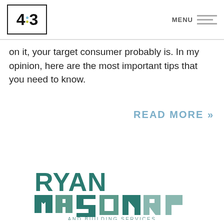4:3 MENU
on it, your target consumer probably is. In my opinion, here are the most important tips that you need to know.
READ MORE »
[Figure (logo): Ryan Masonry and Building Services logo — stylized text with teal and grey geometric letterforms]